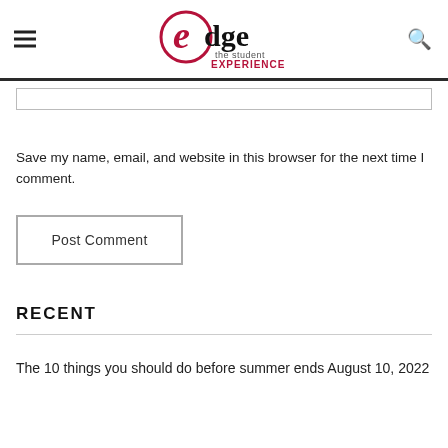edge the student EXPERIENCE
Save my name, email, and website in this browser for the next time I comment.
Post Comment
RECENT
The 10 things you should do before summer ends August 10, 2022